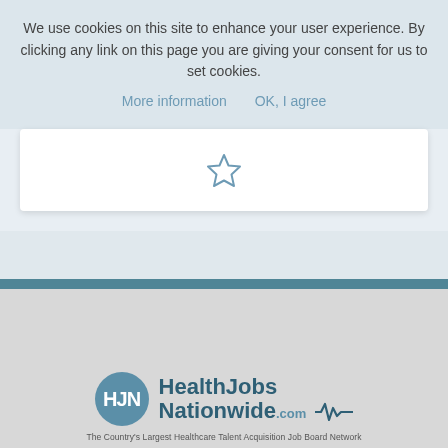We use cookies on this site to enhance your user experience. By clicking any link on this page you are giving your consent for us to set cookies.
More information    OK, I agree
[Figure (illustration): Star/bookmark icon outline in a white card]
[Figure (logo): HealthJobs Nationwide logo with HJN circle emblem and pulse line. Tagline: The Country's Largest Healthcare Talent Acquisition Job Board Network]